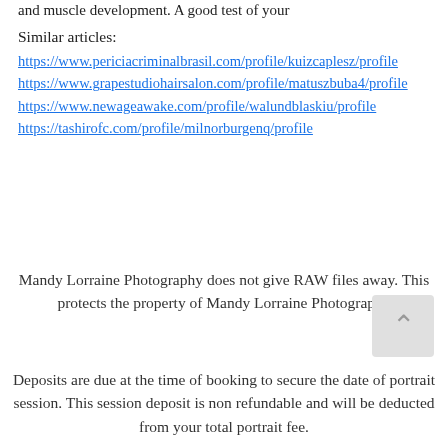and muscle development. A good test of your
Similar articles:
https://www.periciacriminalbrasil.com/profile/kuizcaplesz/profile
https://www.grapestudiohairsalon.com/profile/matuszbuba4/profile
https://www.newageawake.com/profile/walundblaskiu/profile
https://tashirofc.com/profile/milnorburgenq/profile
Mandy Lorraine Photography does not give RAW files away. This protects the property of Mandy Lorraine Photography
Deposits are due at the time of booking to secure the date of portrait session. This session deposit is non refundable and will be deducted from your total portrait fee.